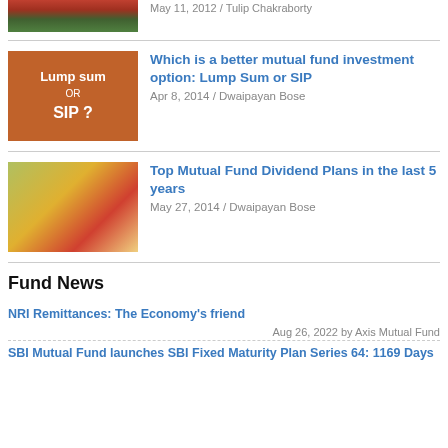[Figure (photo): Partial view of a garden/park scene with red brick building and green lawn, cropped at top]
May 11, 2012 / Tulip Chakraborty
[Figure (photo): Orange textured background image with white bold text: Lump sum OR SIP ?]
Which is a better mutual fund investment option: Lump Sum or SIP
Apr 8, 2014 / Dwaipayan Bose
[Figure (photo): Photo of mixed fruit salad with grapes, strawberries, and oranges on a plate]
Top Mutual Fund Dividend Plans in the last 5 years
May 27, 2014 / Dwaipayan Bose
Fund News
NRI Remittances: The Economy's friend
Aug 26, 2022 by Axis Mutual Fund
SBI Mutual Fund launches SBI Fixed Maturity Plan Series 64: 1169 Days